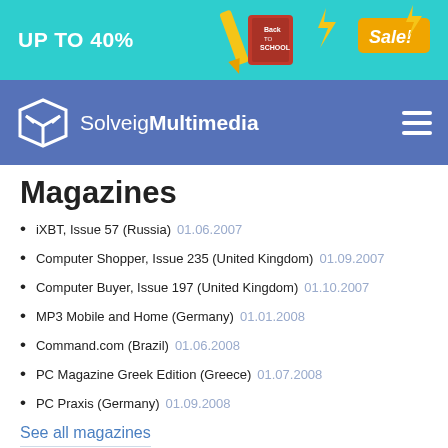[Figure (illustration): Back to school sale banner with teal background, text 'UP TO 40%' on left, illustration of school supplies and 'Sale!' label on right]
[Figure (logo): SolveigMultimedia navigation bar with logo icon on the left and hamburger menu on the right, purple/blue background]
Magazines
iXBT, Issue 57 (Russia) 01.06.2007
Computer Shopper, Issue 235 (United Kingdom) 01.09.2007
Computer Buyer, Issue 197 (United Kingdom) 01.10.2007
MP3 Mobile and Home (Germany) 01.01.2008
Command.com (Brazil) 01.06.2008
PC Magazine Greek Edition (Greece) 01.07.2008
PC Praxis (Germany) 01.09.2008
See all magazines